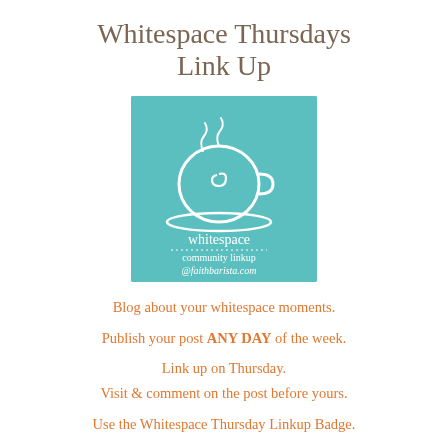Whitespace Thursdays Link Up
[Figure (logo): Teal square logo with a white teacup icon and spiral steam, text reading 'whitespace community linkup @faithbarista.com']
Blog about your whitespace moments.
Publish your post ANY DAY of the week.
Link up on Thursday.
Visit & comment on the post before yours.
Use the Whitespace Thursday Linkup Badge.